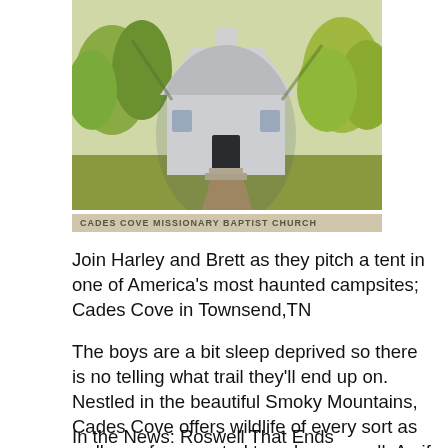[Figure (photo): Illustration/painting of Cades Cove Missionary Baptist Church, a white wooden church building surrounded by trees and greenery]
CADES COVE MISSIONARY BAPTIST CHURCH
Join Harley and Brett as they pitch a tent in one of America's most haunted campsites; Cades Cove in Townsend,TN
The boys are a bit sleep deprived so there is no telling what trail they'll end up on. Nestled in the beautiful Smoky Mountains, Cades Cove offers wildlife of every sort as well as a few spectral travelers as well. As if that wasn't enough there's an abandoned settlement equiped with all the structural nightmare fuel one could ask for, including two churches, a mill and log houses.
In the News: Roswell That Ends Well...unless you're